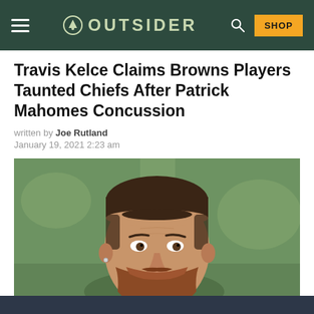OUTSIDER
Travis Kelce Claims Browns Players Taunted Chiefs After Patrick Mahomes Concussion
written by Joe Rutland
January 19, 2021 2:23 am
[Figure (photo): Close-up photo of Travis Kelce, a bearded man with short hair wearing a red shirt, with a blurred green field background]